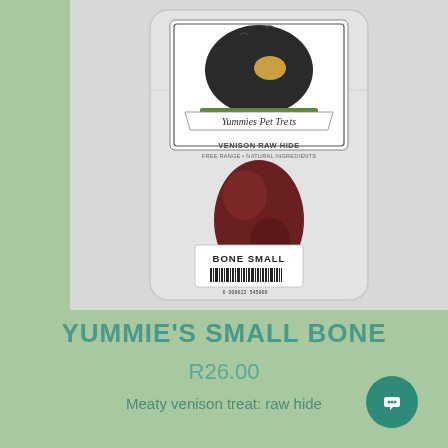[Figure (photo): Product photo of Yummies Pet Treats venison raw hide small bone in clear plastic packaging, with a label showing 'BONE SMALL' and a barcode, against a light grey background.]
YUMMIE'S SMALL BONE
R26.00
Meaty venison treat: raw hide